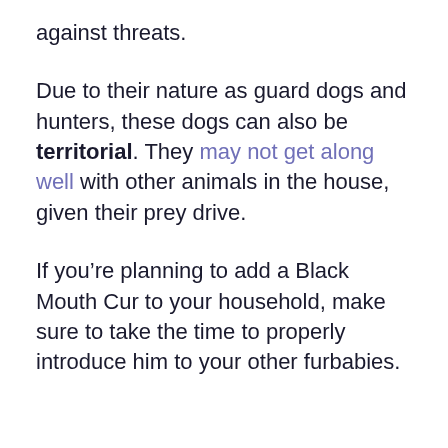against threats.
Due to their nature as guard dogs and hunters, these dogs can also be territorial. They may not get along well with other animals in the house, given their prey drive.
If you’re planning to add a Black Mouth Cur to your household, make sure to take the time to properly introduce him to your other furbabies.